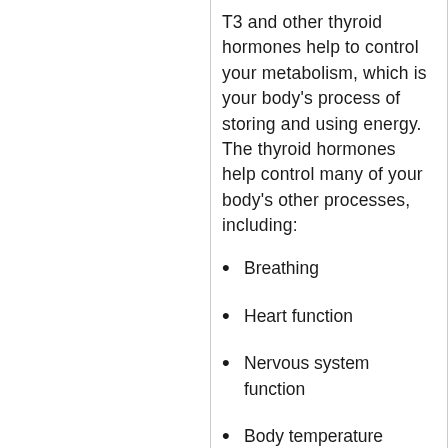T3 and other thyroid hormones help to control your metabolism, which is your body's process of storing and using energy. The thyroid hormones help control many of your body's other processes, including:
Breathing
Heart function
Nervous system function
Body temperature
Cholesterol level
Metabolism that affects your weight